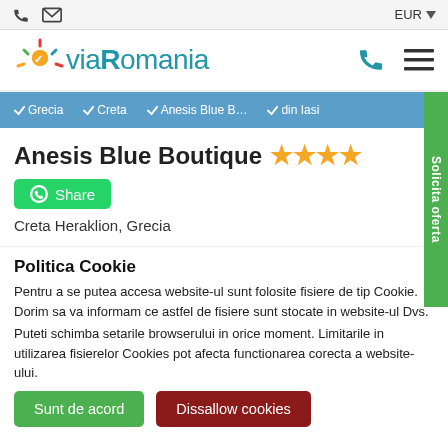EUR ▾
[Figure (logo): ViaRomania logo with stylized sun and text]
✔ Grecia  ✔ Creta  ✔ Anesis Blue B...  ✔ din Iasi
Anesis Blue Boutique ★★★★
Share
Creta Heraklion, Grecia
Politica Cookie
Pentru a se putea accesa website-ul sunt folosite fisiere de tip Cookie. Dorim sa va informam ce astfel de fisiere sunt stocate in website-ul Dvs.
Puteti schimba setarile browserului in orice moment. Limitarile in utilizarea fisierelor Cookies pot afecta functionarea corecta a website-ului.
Sunt de acord
Dissallow cookies